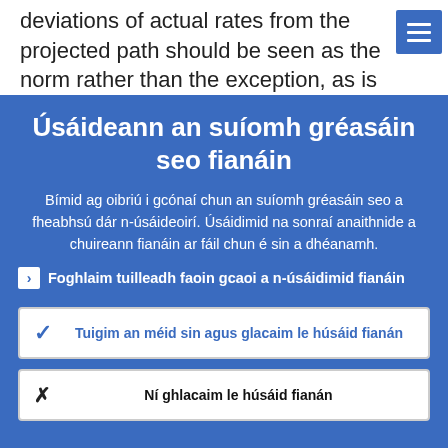deviations of actual rates from the projected path should be seen as the norm rather than the exception, as is the case o…
Úsáideann an suíomh gréasáin seo fianáin
Bímid ag oibriú i gcónaí chun an suíomh gréasáin seo a fheabhsú dár n-úsáideoirí. Úsáidimid na sonraí anaithnide a chuireann fianáin ar fáil chun é sin a dhéanamh.
Foghlaim tuilleadh faoin gcaoi a n-úsáidimid fianáin
Tuigim an méid sin agus glacaim le húsáid fianán
Ní ghlacaim le húsáid fianán